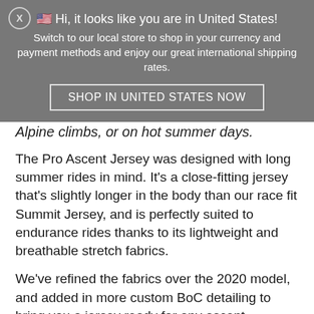🇺🇸 Hi, it looks like you are in United States! Switch to our local store to shop in your currency and payment methods and enjoy our great international shipping rates.
SHOP IN UNITED STATES NOW
Alpine climbs, or on hot summer days.
The Pro Ascent Jersey was designed with long summer rides in mind. It's a close-fitting jersey that's slightly longer in the body than our race fit Summit Jersey, and is perfectly suited to endurance rides thanks to its lightweight and breathable stretch fabrics.
We've refined the fabrics over the 2020 model, and added in more custom BoC detailing to bring you a jersey ready for any ascent.
The Pro Ascent jersey features 3 large rear pockets